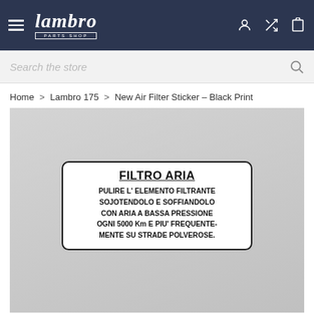Lambro Parts Shop
Search the store
Home > Lambro 175 > New Air Filter Sticker - Black Print
[Figure (photo): Photo of a white rectangular sticker with rounded corners and a black border. The sticker reads: FILTRO ARIA (bold, underlined) followed by text: PULIRE L' ELEMENTO FILTRANTE SOJOTENDOLO E SOFFIANDOLO CON ARIA A BASSA PRESSIONE OGNI 5000 Km E PIU' FREQUENTE- MENTE SU STRADE POLVEROSE.]